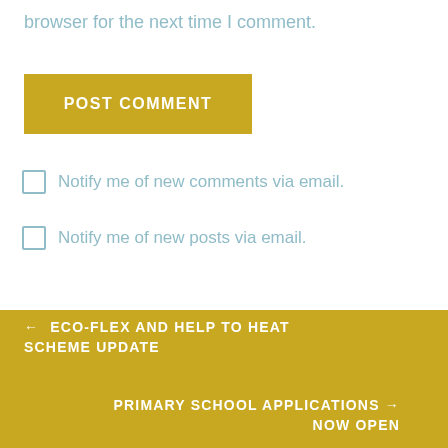browser for the next time I comment.
POST COMMENT
Notify me of new comments via email.
Notify me of new posts via email.
← ECO-FLEX AND HELP TO HEAT SCHEME UPDATE
PRIMARY SCHOOL APPLICATIONS → NOW OPEN